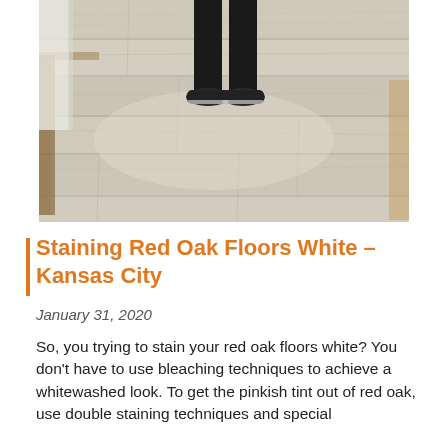[Figure (photo): Photo of a light-colored whitewashed wood floor (red oak) with a person standing on it wearing black pants and dark sneakers. A table leg is visible on the left, and part of a chair is visible on the right.]
Staining Red Oak Floors White – Kansas City
January 31, 2020
So, you trying to stain your red oak floors white? You don't have to use bleaching techniques to achieve a whitewashed look. To get the pinkish tint out of red oak, use double staining techniques and special